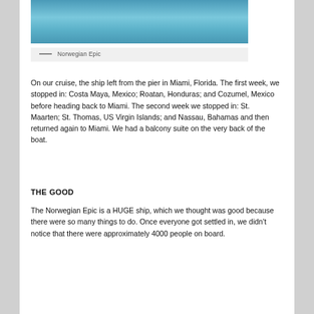[Figure (photo): Photo of water near a pier or dock, blue water with a structure visible at the top]
— Norwegian Epic
On our cruise, the ship left from the pier in Miami, Florida. The first week, we stopped in: Costa Maya, Mexico; Roatan, Honduras; and Cozumel, Mexico before heading back to Miami. The second week we stopped in: St. Maarten; St. Thomas, US Virgin Islands; and Nassau, Bahamas and then returned again to Miami. We had a balcony suite on the very back of the boat.
THE GOOD
The Norwegian Epic is a HUGE ship, which we thought was good because there were so many things to do. Once everyone got settled in, we didn't notice that there were approximately 4000 people on board.